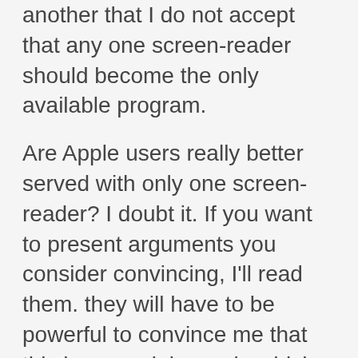another that I do not accept that any one screen-reader should become the only available program.
Are Apple users really better served with only one screen-reader? I doubt it. If you want to present arguments you consider convincing, I'll read them. they will have to be powerful to convince me that this is a special case in which the general laws of economics do not apply regarding monopoly.
Also, I don't find your argument that Microsoft can't test for accessibility